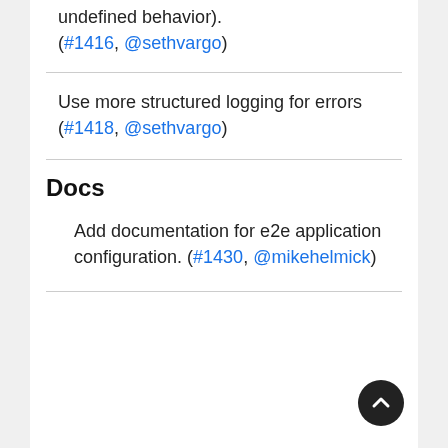(… undefined behavior). (#1416, @sethvargo)
Use more structured logging for errors (#1418, @sethvargo)
Docs
Add documentation for e2e application configuration. (#1430, @mikehelmick)